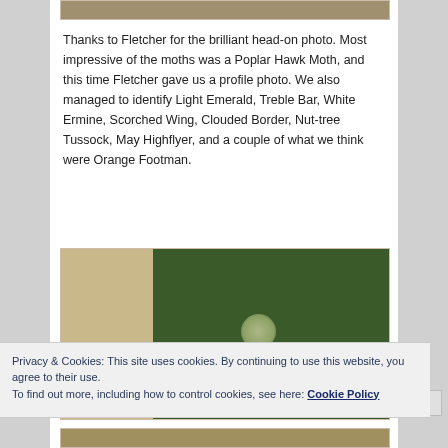[Figure (photo): Top partial photo strip of a moth or natural scene, brown/tan tones]
Thanks to Fletcher for the brilliant head-on photo. Most impressive of the moths was a Poplar Hawk Moth, and this time Fletcher gave us a profile photo. We also managed to identify Light Emerald, Treble Bar, White Ermine, Scorched Wing, Clouded Border, Nut-tree Tussock, May Highflyer, and a couple of what we think were Orange Footman.
[Figure (photo): Close-up photo of a moth on bark, left side shows tan/cream bark texture, right side shows dark green blurred background with a pale circular bokeh highlight]
[Figure (photo): Bottom partial photo strip, tan/golden tones]
Privacy & Cookies: This site uses cookies. By continuing to use this website, you agree to their use.
To find out more, including how to control cookies, see here: Cookie Policy
Close and accept